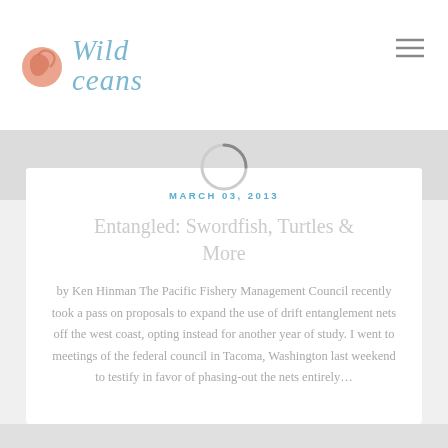Wild Oceans
[Figure (logo): Wild Oceans logo with orange fish icon and blue-gray italic text]
MARCH 03, 2013
Entangled: Swordfish, Turtles & More
by Ken Hinman The Pacific Fishery Management Council recently took a pass on proposals to expand the use of drift entanglement nets off the west coast, opting instead for another year of study. I went to meetings of the federal council in Tacoma, Washington last weekend to testify in favor of phasing-out the nets entirely...